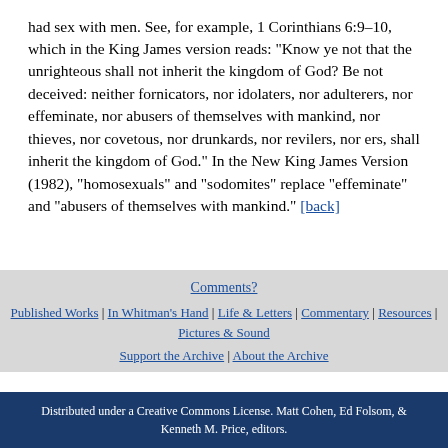had sex with men. See, for example, 1 Corinthians 6:9–10, which in the King James version reads: "Know ye not that the unrighteous shall not inherit the kingdom of God? Be not deceived: neither fornicators, nor idolaters, nor adulterers, nor effeminate, nor abusers of themselves with mankind, nor thieves, nor covetous, nor drunkards, nor revilers, nor ers, shall inherit the kingdom of God." In the New King James Version (1982), "homosexuals" and "sodomites" replace "effeminate" and "abusers of themselves with mankind." [back]
Comments? | Published Works | In Whitman's Hand | Life & Letters | Commentary | Resources | Pictures & Sound | Support the Archive | About the Archive | Distributed under a Creative Commons License. Matt Cohen, Ed Folsom, & Kenneth M. Price, editors.